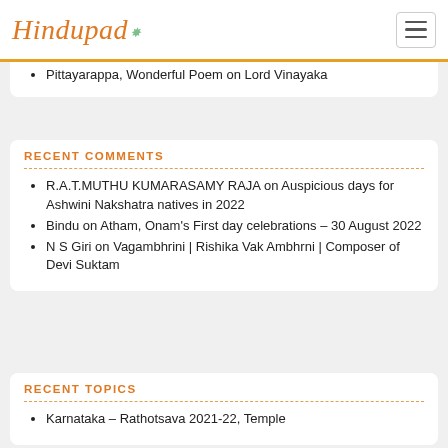Hindupad
Pittayarappa, Wonderful Poem on Lord Vinayaka
RECENT COMMENTS
R.A.T.MUTHU KUMARASAMY RAJA on Auspicious days for Ashwini Nakshatra natives in 2022
Bindu on Atham, Onam's First day celebrations – 30 August 2022
N S Giri on Vagambhrini | Rishika Vak Ambhrni | Composer of Devi Suktam
RECENT TOPICS
Karnataka – Rathotsava 2021-22, Temple